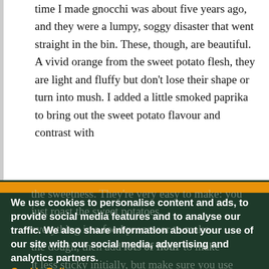time I made gnocchi was about five years ago, and they were a lumpy, soggy disaster that went straight in the bin. These, though, are beautiful. A vivid orange from the sweet potato flesh, they are light and fluffy but don't lose their shape or turn into mush. I added a little smoked paprika to bring out the sweet potato flavour and contrast with
the sweetness. They're very easy to make: you just roast the sweet potatoes, everything in a food processor to make the dough, then add lots of flour to make it less sticky initially, but make sure you use lots of flour and you'll get the hang of it.
We use cookies to personalise content and ads, to provide social media features and to analyse our traffic. We also share information about your use of our site with our social media, advertising and analytics partners. Cookie Policy